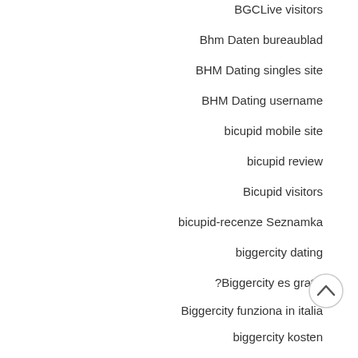BGCLive visitors
Bhm Daten bureaublad
BHM Dating singles site
BHM Dating username
bicupid mobile site
bicupid review
Bicupid visitors
bicupid-recenze Seznamka
biggercity dating
?Biggercity es gratis
Biggercity funziona in italia
biggercity kosten
biggercity review